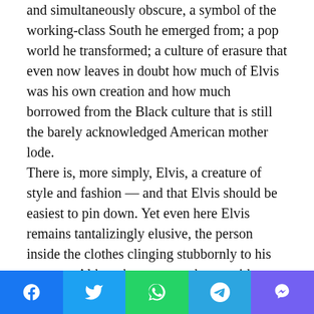and simultaneously obscure, a symbol of the working-class South he emerged from; a pop world he transformed; a culture of erasure that even now leaves in doubt how much of Elvis was his own creation and how much borrowed from the Black culture that is still the barely acknowledged American mother lode. There is, more simply, Elvis, a creature of style and fashion — and that Elvis should be easiest to pin down. Yet even here Elvis remains tantalizingly elusive, the person inside the clothes clinging stubbornly to his mystery. Although we cannot know with much certainty how Elvis arrived at and evolved his indelible image, at least we can track what he wore. In the beginning there were surprisingly conservative stage suits and jackets cut fuller than was the custom of the '50s, although less for reasons of style than to
[Figure (infographic): Social sharing bar with Facebook, Twitter, WhatsApp, Telegram, and Viber icons]